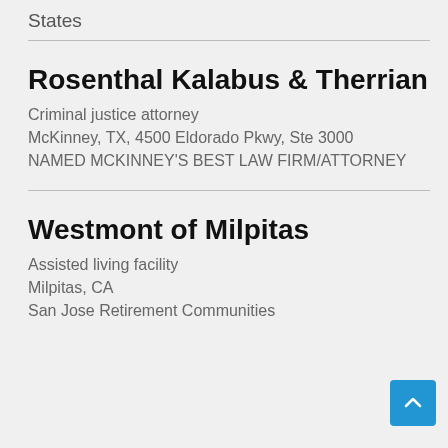States
Rosenthal Kalabus & Therrian
Criminal justice attorney
McKinney, TX, 4500 Eldorado Pkwy, Ste 3000
NAMED MCKINNEY'S BEST LAW FIRM/ATTORNEY
Westmont of Milpitas
Assisted living facility
Milpitas, CA
San Jose Retirement Communities